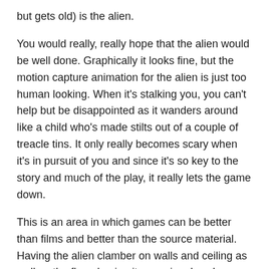but gets old) is the alien.
You would really, really hope that the alien would be well done. Graphically it looks fine, but the motion capture animation for the alien is just too human looking. When it's stalking you, you can't help but be disappointed as it wanders around like a child who's made stilts out of a couple of treacle tins. It only really becomes scary when it's in pursuit of you and since it's so key to the story and much of the play, it really lets the game down.
This is an area in which games can be better than films and better than the source material. Having the alien clamber on walls and ceiling as well as the floor, having it move in a less human manner would have massively improved the game. As it stands the blank-faced androids are scarier than the alien, and that's just wrong.